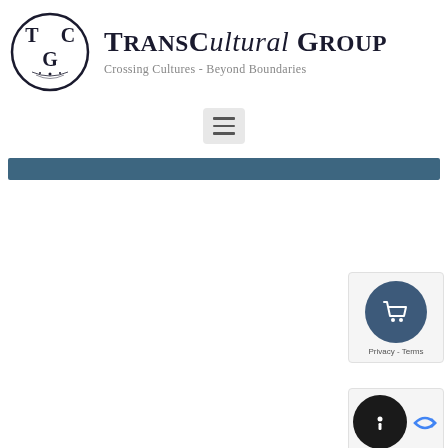[Figure (logo): TransCultural Group logo: circular seal with TCG monogram and decorative flourish, beside brand name 'TRANSCultural GROUP' and tagline 'Crossing Cultures - Beyond Boundaries']
[Figure (other): Hamburger menu button (three horizontal lines) on a light gray rounded rectangle background]
[Figure (other): Blue/steel colored navigation bar strip]
[Figure (other): Shopping cart widget: dark blue circle with white cart icon, below 'Privacy - Terms' text]
[Figure (other): reCAPTCHA widget: dark circle with white 'i' icon, blue arrow, below 'Privacy - Terms' text]